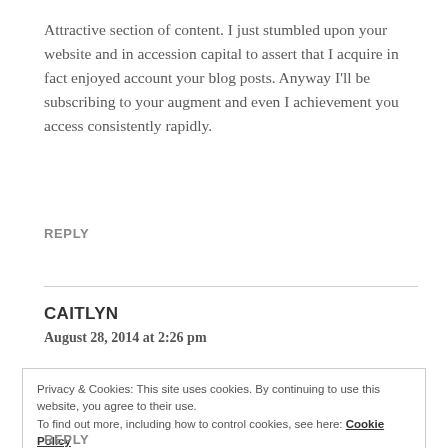Attractive section of content. I just stumbled upon your website and in accession capital to assert that I acquire in fact enjoyed account your blog posts. Anyway I'll be subscribing to your augment and even I achievement you access consistently rapidly.
REPLY
CAITLYN
August 28, 2014 at 2:26 pm
Privacy & Cookies: This site uses cookies. By continuing to use this website, you agree to their use.
To find out more, including how to control cookies, see here: Cookie Policy
Close and accept
REPLY